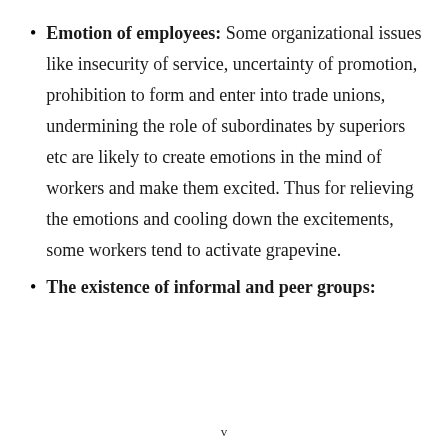Emotion of employees: Some organizational issues like insecurity of service, uncertainty of promotion, prohibition to form and enter into trade unions, undermining the role of subordinates by superiors etc are likely to create emotions in the mind of workers and make them excited. Thus for relieving the emotions and cooling down the excitements, some workers tend to activate grapevine.
The existence of informal and peer groups:
v